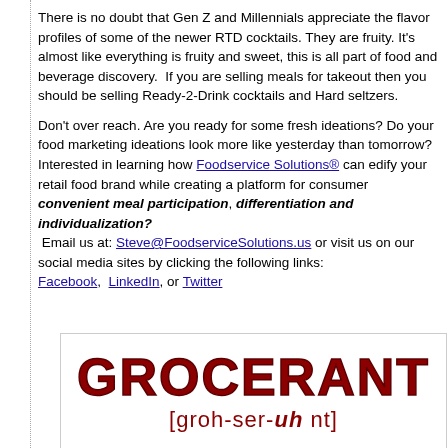There is no doubt that Gen Z and Millennials appreciate the flavor profiles of some of the newer RTD cocktails. They are fruity. It's almost like everything is fruity and sweet, this is all part of food and beverage discovery.  If you are selling meals for takeout then you should be selling Ready-2-Drink cocktails and Hard seltzers.

Don't over reach. Are you ready for some fresh ideations? Do your food marketing ideations look more like yesterday than tomorrow? Interested in learning how Foodservice Solutions® can edify your retail food brand while creating a platform for consumer convenient meal participation, differentiation and individualization?  Email us at: Steve@FoodserviceSolutions.us or visit us on our social media sites by clicking the following links: Facebook,  LinkedIn, or Twitter
[Figure (logo): Grocerant logo with large bold dark red text 'GROCERANT' and phonetic pronunciation '[groh-ser-uh nt]' below]